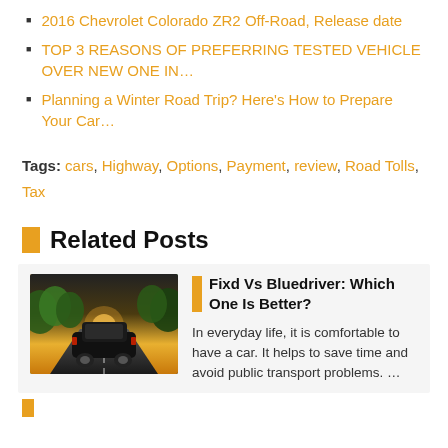2016 Chevrolet Colorado ZR2 Off-Road, Release date
TOP 3 REASONS OF PREFERRING TESTED VEHICLE OVER NEW ONE IN…
Planning a Winter Road Trip? Here's How to Prepare Your Car…
Tags: cars, Highway, Options, Payment, review, Road Tolls, Tax
Related Posts
[Figure (photo): A black car driving on a road with green trees and a bright golden sunset in the background]
Fixd Vs Bluedriver: Which One Is Better?
In everyday life, it is comfortable to have a car. It helps to save time and avoid public transport problems. …